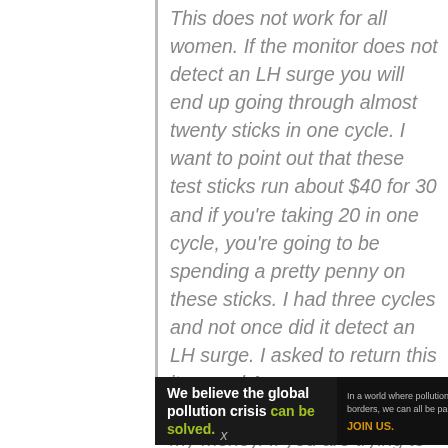This does not work for all women. If the monitor does not detect an LH surge you will end up going through almost twenty sticks in one cycle. I want to point out that these test sticks run about $40 for 30 and if you're taking 20 in one cycle, you're going to be spending a pretty penny on these sticks. I had three cycles and not once did it detect an LH surge. I asked to return this item and Amazon was very gracious and willing to refund my money. If you are trying to get pregnant (or trying not to get pregnant) be aware that you might be
[Figure (other): Advertisement banner for Pure Earth organization with dark background. Left section: white bold text 'We believe the global pollution crisis can be solved.' with 'can be solved.' in green. Middle section: smaller gray text 'In a world where pollution doesn't stop at borders, we can all be part of the solution.' followed by 'JOIN US.' in orange/gold. Right section: Pure Earth logo with layered diamond/chevron shapes in gold and green, with 'PURE EARTH' in white bold text.]
x